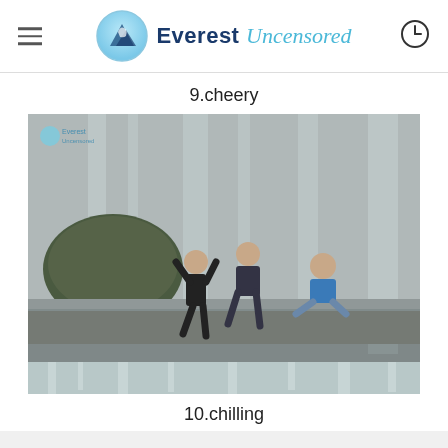Everest Uncensored
9.cheery
[Figure (photo): People posing at a waterfall. Two people are leaning over the edge of a water cascade while another person sits nearby, all in front of a large waterfall backdrop. A small Everest Uncensored watermark logo is in the top-left corner of the image.]
10.chilling